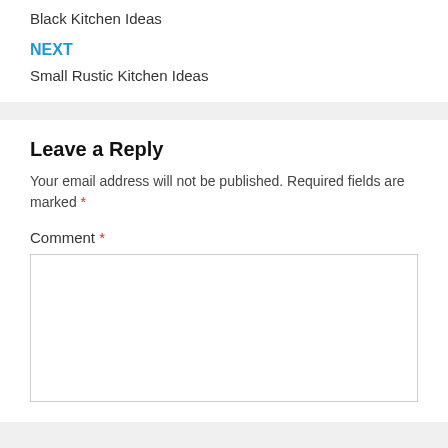Black Kitchen Ideas
NEXT
Small Rustic Kitchen Ideas
Leave a Reply
Your email address will not be published. Required fields are marked *
Comment *